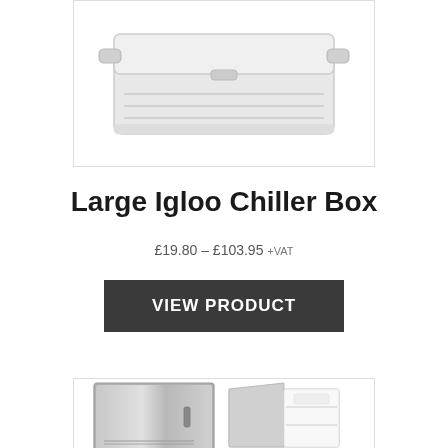[Figure (photo): Large white Igloo cooler/chiller box with handle, shown from an angle, white background, inside a bordered frame]
Large Igloo Chiller Box
£19.80 – £103.95 +VAT
VIEW PRODUCT
[Figure (photo): Stainless steel under-counter refrigerator unit shown alongside an open door view, inside a bordered frame]